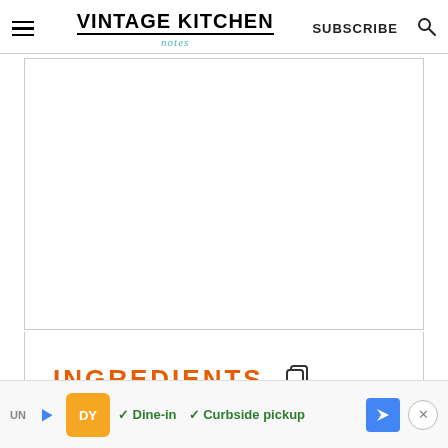VINTAGE KITCHEN  SUBSCRIBE
[Figure (other): Large white rectangular image area (recipe photo area, content not visible)]
INGREDIENTS
[Figure (other): Advertisement bar: Dine-in, Curbside pickup]